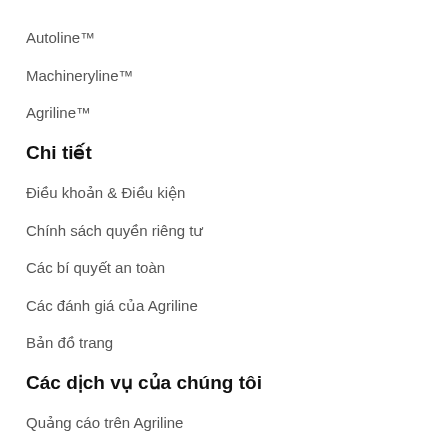Autoline™
Machineryline™
Agriline™
Chi tiết
Điều khoản & Điều kiện
Chính sách quyền riêng tư
Các bí quyết an toàn
Các đánh giá của Agriline
Bản đồ trang
Các dịch vụ của chúng tôi
Quảng cáo trên Agriline
Đặt hấn hàng ná mặt hàng